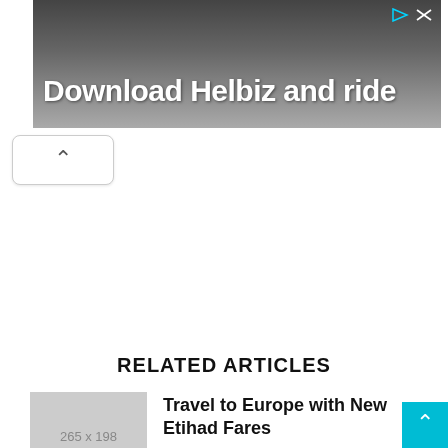[Figure (photo): Advertisement banner with dark background showing a person with an electric scooter, text 'Download Helbiz and ride' in white, with play and close icons in top right corner.]
^
RELATED ARTICLES
[Figure (photo): Placeholder image thumbnail 265 x 198]
Travel to Europe with New Etihad Fares